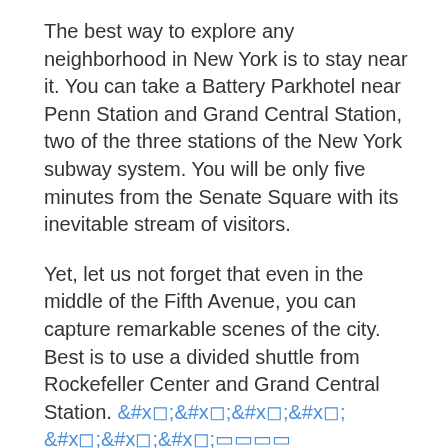The best way to explore any neighborhood in New York is to stay near it. You can take a Battery Parkhotel near Penn Station and Grand Central Station, two of the three stations of the New York subway system. You will be only five minutes from the Senate Square with its inevitable stream of visitors.
Yet, let us not forget that even in the middle of the Fifth Avenue, you can capture remarkable scenes of the city. Best is to use a divided shuttle from Rockefeller Center and Grand Central Station. [link] This way, you will not only be able to take pleasure in postcard views of the city, but you will also be able to experience the unusual sights of Chinatown. This ethnic community is easily accessible from these two heavily touristed Manhattan boroughs.